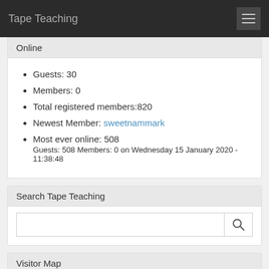Tape Teaching
Online
Guests: 30
Members: 0
Total registered members:820
Newest Member: sweetnammark
Most ever online: 508
Guests: 508 Members: 0 on Wednesday 15 January 2020 - 11:38:48
Search Tape Teaching
Visitor Map